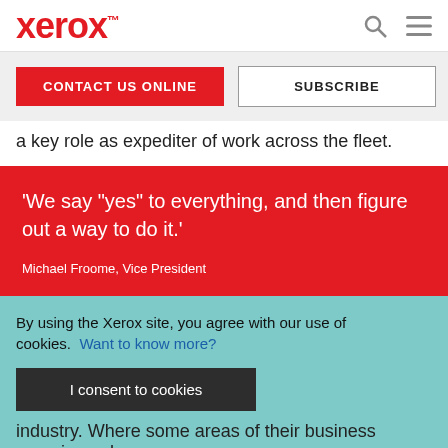xerox™
a key role as expediter of work across the fleet.
'We say "yes" to everything, and then figure out a way to do it.'

Michael Froome, Vice President
By using the Xerox site, you agree with our use of cookies. Want to know more?
I consent to cookies
industry. Where some areas of their business experienced